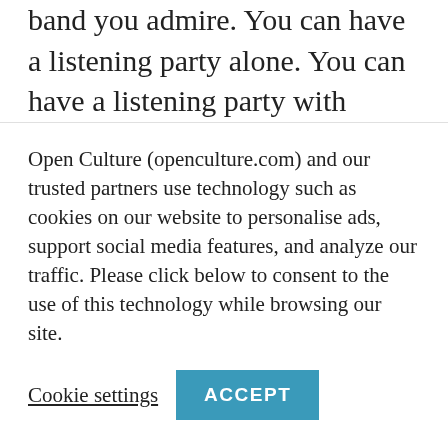band you admire. You can have a listening party alone. You can have a listening party with friends. You can learn the title track in a couple days and play it onstage while the band you admire sits in the audience. That last one might be overkill. Unless you're Jimi Hendrix. Hendrix was so excited after the UK release of Sgt. Pepper's Lonely Hearts Club Band in 1967 that he opened a set at London's Saville Theater with his own, Hendrix-ified rendition of the album's McCartney-penned title song. In the audience:
Open Culture (openculture.com) and our trusted partners use technology such as cookies on our website to personalise ads, support social media features, and analyze our traffic. Please click below to consent to the use of this technology while browsing our site.
Cookie settings | ACCEPT